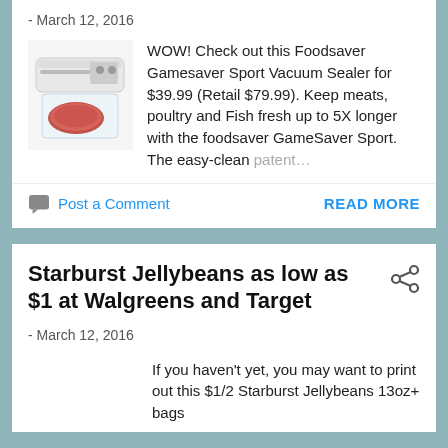- March 12, 2016
WOW! Check out this Foodsaver Gamesaver Sport Vacuum Sealer for $39.99 (Retail $79.99). Keep meats, poultry and Fish fresh up to 5X longer with the foodsaver GameSaver Sport. The easy-clean patent…
Post a Comment
READ MORE
Starburst Jellybeans as low as $1 at Walgreens and Target
- March 12, 2016
If you haven't yet, you may want to print out this $1/2 Starburst Jellybeans 13oz+ bags